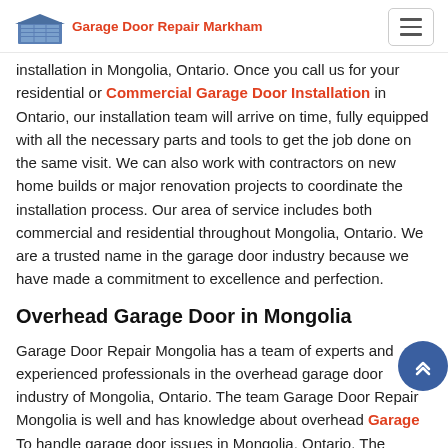Garage Door Repair Markham
installation in Mongolia, Ontario. Once you call us for your residential or Commercial Garage Door Installation in Ontario, our installation team will arrive on time, fully equipped with all the necessary parts and tools to get the job done on the same visit. We can also work with contractors on new home builds or major renovation projects to coordinate the installation process. Our area of service includes both commercial and residential throughout Mongolia, Ontario. We are a trusted name in the garage door industry because we have made a commitment to excellence and perfection.
Overhead Garage Door in Mongolia
Garage Door Repair Mongolia has a team of experts and experienced professionals in the overhead garage door industry of Mongolia, Ontario. The team Garage Door Repair Mongolia is well and has knowledge about overhead Garage Door To handle garage door issues in Mongolia, Ontario. The Garage Door Repair Mongolia is honest and reliable to visit your property to work on your overhead garage doors. For